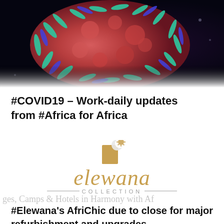[Figure (photo): Close-up microscopic image of a coronavirus (COVID-19) particle showing spike proteins, colorized in red/pink with blue and green details against a dark background.]
#COVID19 – Work-daily updates from #Africa for Africa
[Figure (logo): Elewana Collection logo featuring a stylized 'L' shape with a crescent moon and sunburst icon above, the word 'elewana' in gold cursive script, and 'COLLECTION' in grey spaced capitals with decorative lines on either side.]
ges, Camps & Hotels in Harmony with Af
#Elewana's AfriChic due to close for major refurbishment and upgrades